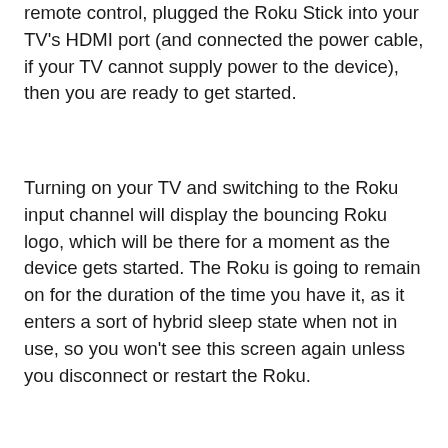remote control, plugged the Roku Stick into your TV's HDMI port (and connected the power cable, if your TV cannot supply power to the device), then you are ready to get started.
Turning on your TV and switching to the Roku input channel will display the bouncing Roku logo, which will be there for a moment as the device gets started. The Roku is going to remain on for the duration of the time you have it, as it enters a sort of hybrid sleep state when not in use, so you won't see this screen again unless you disconnect or restart the Roku.